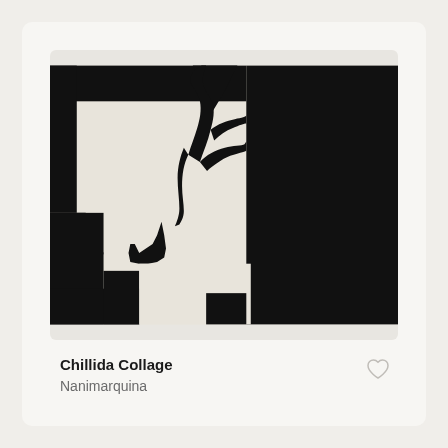[Figure (illustration): Abstract black and white collage artwork by Chillida. The image shows bold black geometric and organic shapes against a cream/off-white background. Large black areas occupy the left bottom, right side, and top right. In the center-left area, abstract curved black forms suggest interlocking or reaching shapes. The composition is high contrast with stark black and off-white tones.]
Chillida Collage
Nanimarquina